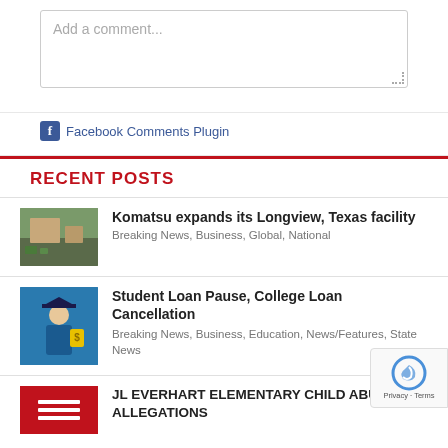[Figure (screenshot): Add a comment text input box with placeholder text and resize handle]
Facebook Comments Plugin
RECENT POSTS
[Figure (photo): Thumbnail image of Komatsu facility in Longview Texas]
Komatsu expands its Longview, Texas facility
Breaking News, Business, Global, National
[Figure (illustration): Illustration of graduation figure with dollar sign - Student Loan article]
Student Loan Pause, College Loan Cancellation
Breaking News, Business, Education, News/Features, State News
[Figure (illustration): Pink/red thumbnail with menu lines for JL Everhart Elementary article]
JL EVERHART ELEMENTARY CHILD ABUSE ALLEGATIONS